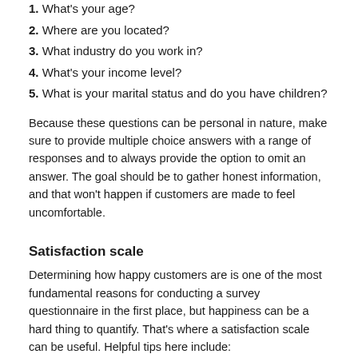1. What's your age?
2. Where are you located?
3. What industry do you work in?
4. What's your income level?
5. What is your marital status and do you have children?
Because these questions can be personal in nature, make sure to provide multiple choice answers with a range of responses and to always provide the option to omit an answer. The goal should be to gather honest information, and that won't happen if customers are made to feel uncomfortable.
Satisfaction scale
Determining how happy customers are is one of the most fundamental reasons for conducting a survey questionnaire in the first place, but happiness can be a hard thing to quantify. That's where a satisfaction scale can be useful. Helpful tips here include: